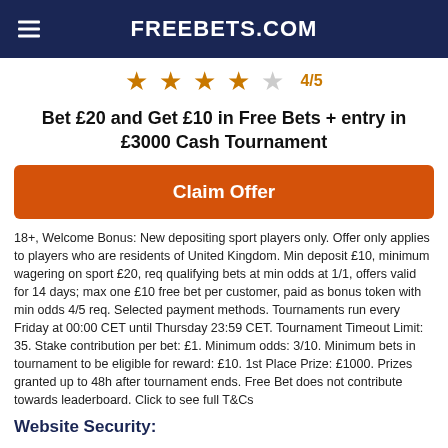FREEBETS.COM
[Figure (other): Star rating: 4 filled orange stars, 1 empty grey star, rating 4/5]
Bet £20 and Get £10 in Free Bets + entry in £3000 Cash Tournament
Claim Offer
18+, Welcome Bonus: New depositing sport players only. Offer only applies to players who are residents of United Kingdom. Min deposit £10, minimum wagering on sport £20, req qualifying bets at min odds at 1/1, offers valid for 14 days; max one £10 free bet per customer, paid as bonus token with min odds 4/5 req. Selected payment methods. Tournaments run every Friday at 00:00 CET until Thursday 23:59 CET. Tournament Timeout Limit: 35. Stake contribution per bet: £1. Minimum odds: 3/10. Minimum bets in tournament to be eligible for reward: £10. 1st Place Prize: £1000. Prizes granted up to 48h after tournament ends. Free Bet does not contribute towards leaderboard. Click to see full T&Cs
Website Security: